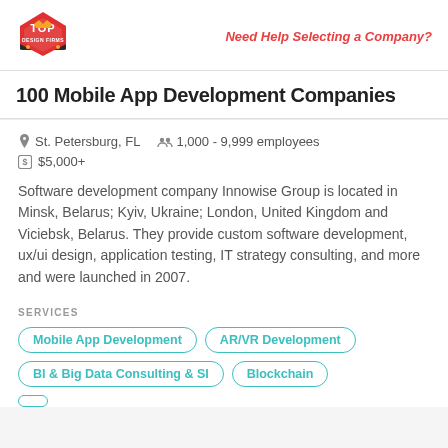[Figure (logo): Top Design Firms red hexagon logo with 'TOP' text and crown icon]
Need Help Selecting a Company?
100 Mobile App Development Companies
St. Petersburg, FL   1,000 - 9,999 employees
$5,000+
Software development company Innowise Group is located in Minsk, Belarus; Kyiv, Ukraine; London, United Kingdom and Viciebsk, Belarus. They provide custom software development, ux/ui design, application testing, IT strategy consulting, and more and were launched in 2007.
SERVICES
Mobile App Development
AR/VR Development
BI & Big Data Consulting & SI
Blockchain